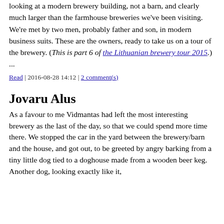looking at a modern brewery building, not a barn, and clearly much larger than the farmhouse breweries we've been visiting. We're met by two men, probably father and son, in modern business suits. These are the owners, ready to take us on a tour of the brewery. (This is part 6 of the Lithuanian brewery tour 2015.) ...
Read | 2016-08-28 14:12 | 2 comment(s)
Jovaru Alus
As a favour to me Vidmantas had left the most interesting brewery as the last of the day, so that we could spend more time there. We stopped the car in the yard between the brewery/barn and the house, and got out, to be greeted by angry barking from a tiny little dog tied to a doghouse made from a wooden beer keg. Another dog, looking exactly like it,